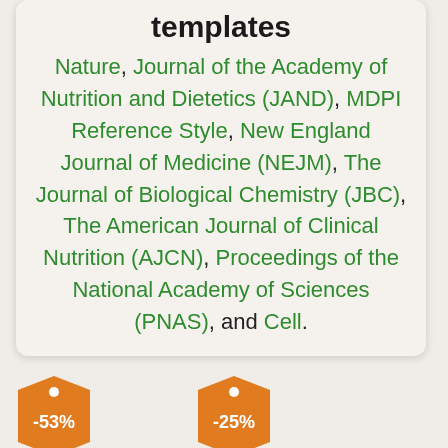templates
Nature, Journal of the Academy of Nutrition and Dietetics (JAND), MDPI Reference Style, New England Journal of Medicine (NEJM), The Journal of Biological Chemistry (JBC), The American Journal of Clinical Nutrition (AJCN), Proceedings of the National Academy of Sciences (PNAS), and Cell.
[Figure (other): Advertisement section with two orange price-tag icons showing -53% and -25% discount labels]